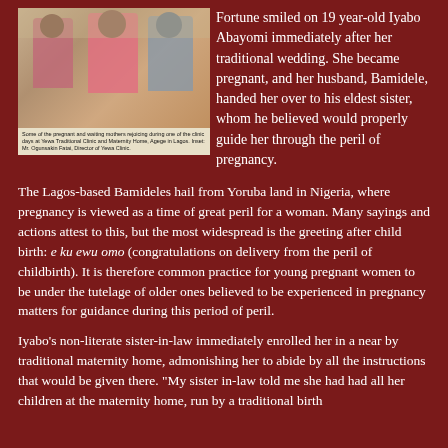[Figure (photo): Photo of pregnant and waiting mothers rejoicing during one of the clinic days at Yewa Traditional Clinic and Maternity Home, Agege in Lagos. Inset: Mr. Ogunsakin Fatai, Director of Yewa Clinic.]
Some of the pregnant and waiting mothers rejoicing during one of the clinic days at Yewa Traditional Clinic and Maternity Home, Agege in Lagos. Inset: Mr. Ogunsakin Fatai, Director of Yewa Clinic.
Fortune smiled on 19 year-old Iyabo Abayomi immediately after her traditional wedding. She became pregnant, and her husband, Bamidele, handed her over to his eldest sister, whom he believed would properly guide her through the peril of pregnancy.
The Lagos-based Bamideles hail from Yoruba land in Nigeria, where pregnancy is viewed as a time of great peril for a woman. Many sayings and actions attest to this, but the most widespread is the greeting after child birth: e ku ewu omo (congratulations on delivery from the peril of childbirth). It is therefore common practice for young pregnant women to be under the tutelage of older ones believed to be experienced in pregnancy matters for guidance during this period of peril.
Iyabo's non-literate sister-in-law immediately enrolled her in a near by traditional maternity home, admonishing her to abide by all the instructions that would be given there. "My sister in-law told me she had had all her children at the maternity home, run by a traditional birth